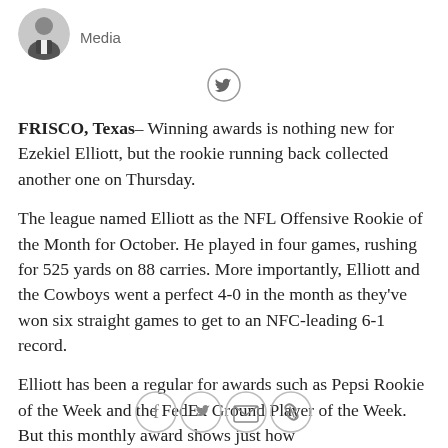[Figure (photo): Circular avatar photo of a man in a suit]
Media
[Figure (illustration): Twitter bird icon in a circle]
FRISCO, Texas– Winning awards is nothing new for Ezekiel Elliott, but the rookie running back collected another one on Thursday.
The league named Elliott as the NFL Offensive Rookie of the Month for October. He played in four games, rushing for 525 yards on 88 carries. More importantly, Elliott and the Cowboys went a perfect 4-0 in the month as they've won six straight games to get to an NFC-leading 6-1 record.
Elliott has been a regular for awards such as Pepsi Rookie of the Week and the FedEx Ground Player of the Week. But this monthly award shows just how
[Figure (illustration): Row of social share icons: Facebook, Twitter, Email, Link]